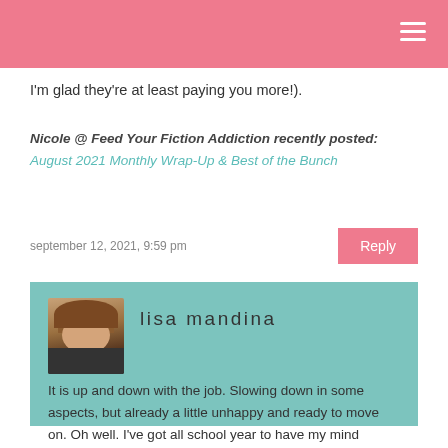I'm glad they're at least paying you more!).
Nicole @ Feed Your Fiction Addiction recently posted: August 2021 Monthly Wrap-Up & Best of the Bunch
september 12, 2021, 9:59 pm
lisa mandina
It is up and down with the job. Slowing down in some aspects, but already a little unhappy and ready to move on. Oh well. I've got all school year to have my mind changed.
september 13, 2021, 5:59 pm